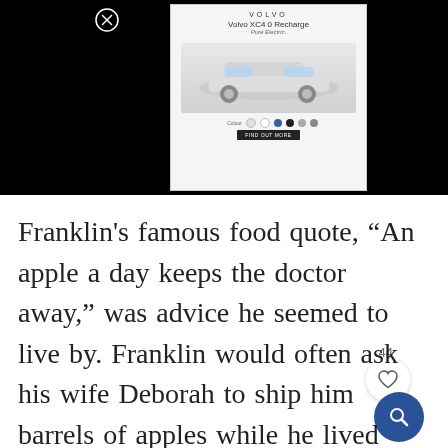[Figure (screenshot): Volvo XC40 Recharge advertisement banner with car image, color picker, and CTA button, overlaid on black background with close button]
Franklin's famous food quote, “An apple a day keeps the doctor away,” was advice he seemed to live by. Franklin would often ask his wife Deborah to ship him barrels of apples while he lived abroad, as evidenced in a letter to her: “Goodeys I now and then get a few; but roasting Apples seldom, I wish you had sent me some… Newton Pippin…